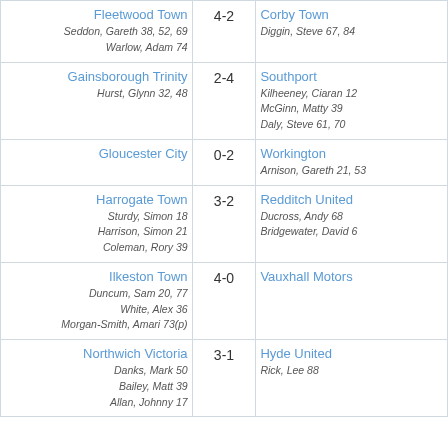| Home | Score | Away |
| --- | --- | --- |
| Fleetwood Town
Seddon, Gareth 38, 52, 69
Warlow, Adam 74 | 4-2 | Corby Town
Diggin, Steve 67, 84 |
| Gainsborough Trinity
Hurst, Glynn 32, 48 | 2-4 | Southport
Kilheeney, Ciaran 12
McGinn, Matty 39
Daly, Steve 61, 70 |
| Gloucester City | 0-2 | Workington
Arnison, Gareth 21, 53 |
| Harrogate Town
Sturdy, Simon 18
Harrison, Simon 21
Coleman, Rory 39 | 3-2 | Redditch United
Ducross, Andy 68
Bridgewater, David 6 |
| Ilkeston Town
Duncum, Sam 20, 77
White, Alex 36
Morgan-Smith, Amari 73(p) | 4-0 | Vauxhall Motors |
| Northwich Victoria
Danks, Mark 50
Bailey, Matt 39
Allan, Johnny 17 | 3-1 | Hyde United
Rick, Lee 88 |